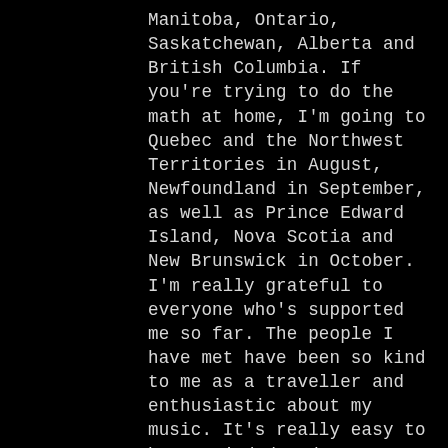Manitoba, Ontario, Saskatchewan, Alberta and British Columbia. If you're trying to do the math at home, I'm going to Quebec and the Northwest Territories in August, Newfoundland in September, as well as Prince Edward Island, Nova Scotia and New Brunswick in October. I'm really grateful to everyone who's supported me so far. The people I have met have been so kind to me as a traveller and enthusiastic about my music. It's really easy to become jaded and pessimistic about creative ventures and the people I've met have sustained me more that I could have imagine. I'm super happy to be doing this project and some of the preliminary recording mixes I've received so far have been blowing my mind.